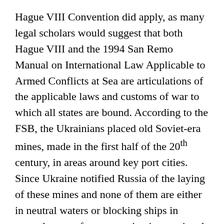Hague VIII Convention did apply, as many legal scholars would suggest that both Hague VIII and the 1994 San Remo Manual on International Law Applicable to Armed Conflicts at Sea are articulations of the applicable laws and customs of war to which all states are bound. According to the FSB, the Ukrainians placed old Soviet-era mines, made in the first half of the 20th century, in areas around key port cities. Since Ukraine notified Russia of the laying of these mines and none of them are either in neutral waters or blocking ships in neutral waters from accessing international waters, there is no inherent legal problem with this portion of the claim.
The FSB further claims that because of a storm, the lines holding some of the mines to their anchors broke, leaving the mines to float. Beyond prohibitions against